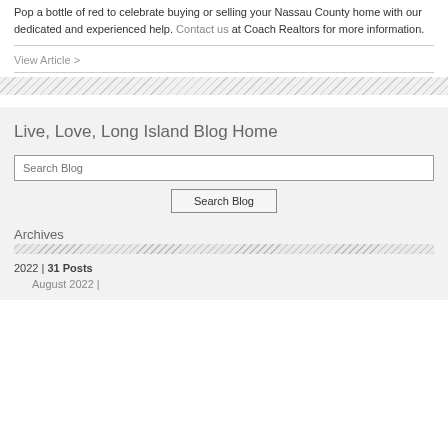Pop a bottle of red to celebrate buying or selling your Nassau County home with our dedicated and experienced help. Contact us at Coach Realtors for more information.
View Article >
[Figure (other): Diagonal hatch pattern divider bar]
Live, Love, Long Island Blog Home
Search Blog
Search Blog
Archives
[Figure (other): Diagonal hatch pattern thin divider]
2022 | 31 Posts
August 2022 |